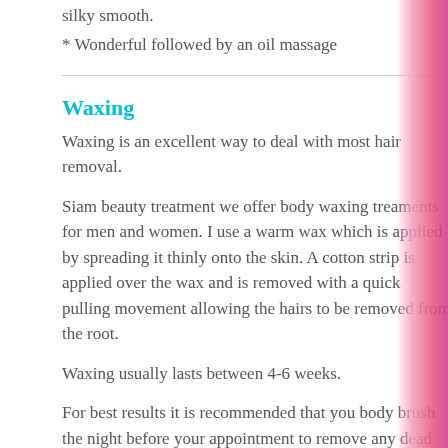silky smooth.
* Wonderful followed by an oil massage
Waxing
Waxing is an excellent way to deal with most hair removal.
Siam beauty treatment we offer body waxing treaments for men and women.  I use a warm wax which is applied by spreading it thinly onto the skin. A cotton strip is applied over the wax and is removed with a quick pulling movement allowing the hairs to be removed from the root.
Waxing usually lasts between 4-6 weeks.
For best results it is recommended that you body brush the night before your appointment to remove any dead skin and